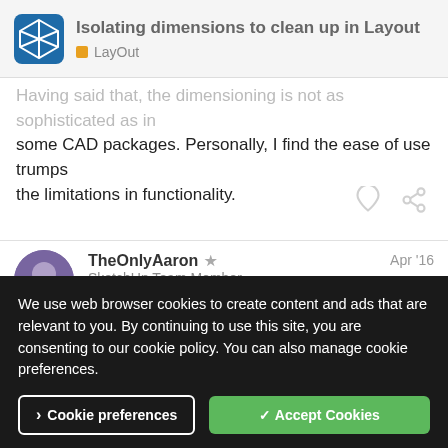Isolating dimensions to clean up in Layout — LayOut
Having said that, the dimensioning is not as sophisticated as in some CAD packages. Personally, I find the ease of use trumps the limitations in functionality.
TheOnlyAaron — SketchUp Team Member — Apr '16
I your example, I, personally, would import the SketchUp file without and dimensions, and then add dimensions to LayOut.
We use web browser cookies to create content and ads that are relevant to you. By continuing to use this site, you are consenting to our cookie policy. You can also manage cookie preferences.